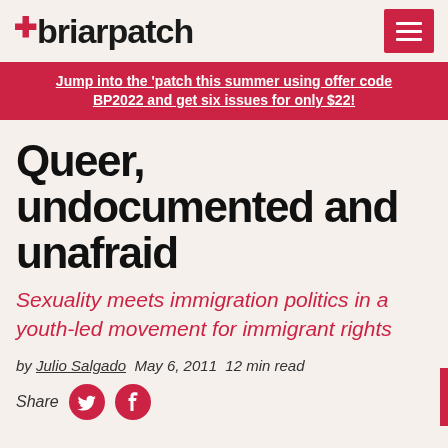briarpatch
Jump into the 'patch this summer using offer code BP2022 and get six issues for only $22!
Queer, undocumented and unafraid
Sexuality meets immigration politics in a youth-led movement for immigrant rights
by Julio Salgado  May 6, 2011  12 min read
Share